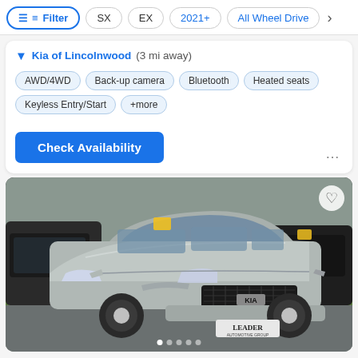Filter | SX | EX | 2021+ | All Wheel Drive
Kia of Lincolnwood (3 mi away)
AWD/4WD
Back-up camera
Bluetooth
Heated seats
Keyless Entry/Start
+more
Check Availability
[Figure (photo): Kia Sorento silver SUV parked at a dealership lot (Leader dealership), front three-quarter view. Car has a yellow sticker on windshield. Image carousel with 5 navigation dots at bottom, heart/favorite icon at top right.]